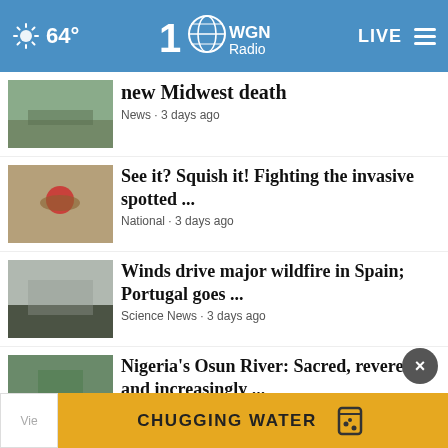64° WGN Radio 100 LIVE
new Midwest death — News · 3 days ago
See it? Squish it! Fighting the invasive spotted ... — National · 3 days ago
Winds drive major wildfire in Spain; Portugal goes ... — Science News · 3 days ago
Nigeria's Osun River: Sacred, revered and increasingly ... — Science News · 3 days ago
One of the world's largest moths has been spotted ... — News · 3 days ago
[Figure (screenshot): Advertisement banner: CHUGGING WATER with cup icon on gold background]